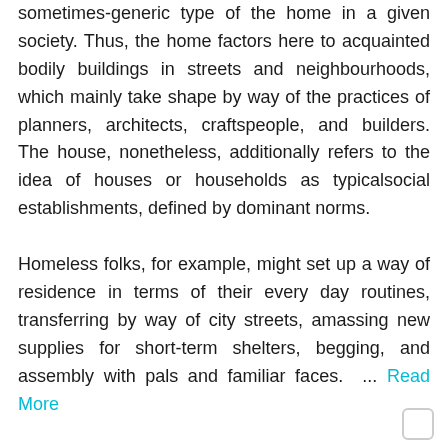sometimes-generic type of the home in a given society. Thus, the home factors here to acquainted bodily buildings in streets and neighbourhoods, which mainly take shape by way of the practices of planners, architects, craftspeople, and builders. The house, nonetheless, additionally refers to the idea of houses or households as typicalsocial establishments, defined by dominant norms.
Homeless folks, for example, might set up a way of residence in terms of their every day routines, transferring by way of city streets, amassing new supplies for short-term shelters, begging, and assembly with pals and familiar faces. ... Read More